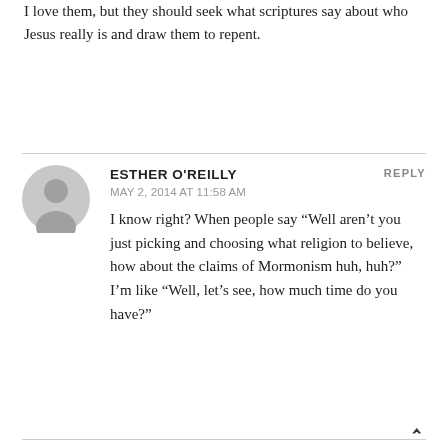I love them, but they should seek what scriptures say about who Jesus really is and draw them to repent.
ESTHER O'REILLY
MAY 2, 2014 AT 11:58 AM
I know right? When people say “Well aren’t you just picking and choosing what religion to believe, how about the claims of Mormonism huh, huh?” I’m like “Well, let’s see, how much time do you have?”